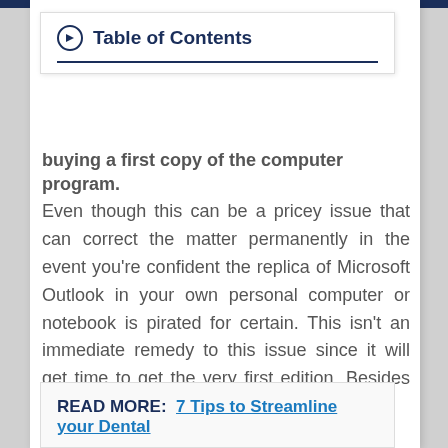Table of Contents
buying a first copy of the computer program.
Even though this can be a pricey issue that can correct the matter permanently in the event you're confident the replica of Microsoft Outlook in your own personal computer or notebook is pirated for certain. This isn't an immediate remedy to this issue since it will get time to get the very first edition. Besides that, it might be expensive too.
READ MORE:  7 Tips to Streamline your Dental